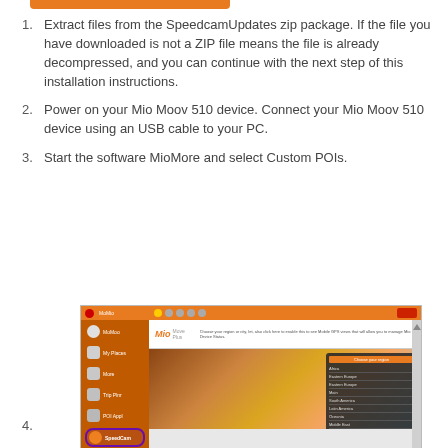1. Extract files from the SpeedcamUpdates zip package. If the file you have downloaded is not a ZIP file means the file is already decompressed, and you can continue with the next step of this installation instructions.
2. Power on your Mio Moov 510 device. Connect your Mio Moov 510 device using an USB cable to your PC.
3. Start the software MioMore and select Custom POIs.
[Figure (screenshot): Screenshot of MioMore software showing the Custom POIs menu item highlighted with a purple circle in the left sidebar. The main panel shows a Mio Moov logo and a road/landscape image with a region selection overlay panel.]
4.